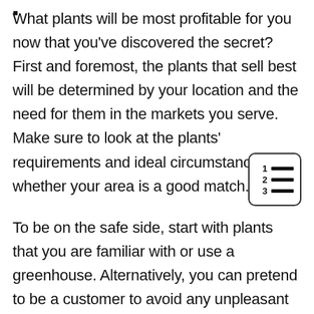What plants will be most profitable for you now that you've discovered the secret? First and foremost, the plants that sell best will be determined by your location and the need for them in the markets you serve. Make sure to look at the plants' requirements and ideal circumstances whether your area is a good match.
[Figure (other): A small icon of a numbered list (1, 2, 3) with horizontal lines next to each number, enclosed in a rounded rectangle border.]
To be on the safe side, start with plants that you are familiar with or use a greenhouse. Alternatively, you can pretend to be a customer to avoid any unpleasant surprises. Because of their low-maintenance requirements, succulents are a